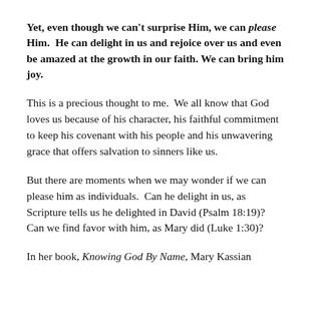Yet, even though we can't surprise Him, we can please Him. He can delight in us and rejoice over us and even be amazed at the growth in our faith. We can bring him joy.
This is a precious thought to me. We all know that God loves us because of his character, his faithful commitment to keep his covenant with his people and his unwavering grace that offers salvation to sinners like us.
But there are moments when we may wonder if we can please him as individuals. Can he delight in us, as Scripture tells us he delighted in David (Psalm 18:19)? Can we find favor with him, as Mary did (Luke 1:30)?
In her book, Knowing God By Name, Mary Kassian